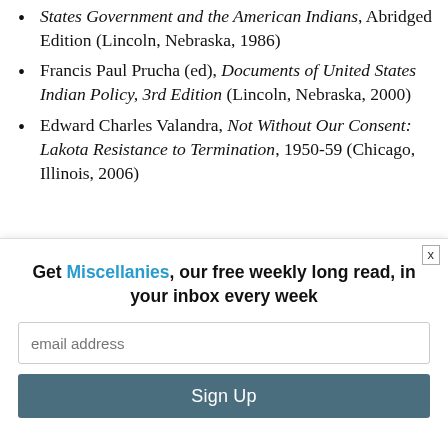States Government and the American Indians, Abridged Edition (Lincoln, Nebraska, 1986)
Francis Paul Prucha (ed), Documents of United States Indian Policy, 3rd Edition (Lincoln, Nebraska, 2000)
Edward Charles Valandra, Not Without Our Consent: Lakota Resistance to Termination, 1950-59 (Chicago, Illinois, 2006)
Andrew Boyer was for many years Director of
Get Miscellanies, our free weekly long read, in your inbox every week
email address
Sign Up